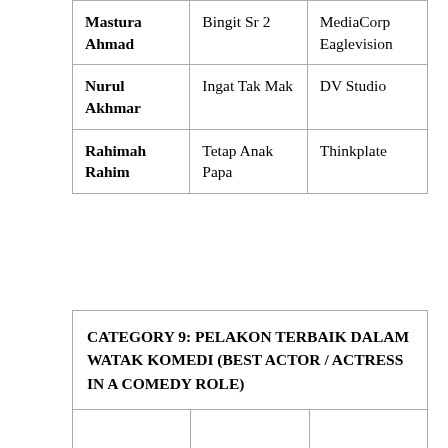| Mastura Ahmad | Bingit Sr 2 | MediaCorp
Eaglevision |
| Nurul Akhmar | Ingat Tak Mak | DV Studio |
| Rahimah Rahim | Tetap Anak Papa | Thinkplate |
| CATEGORY 9: PELAKON TERBAIK DALAM WATAK KOMEDI (BEST ACTOR / ACTRESS IN A COMEDY ROLE) |  |  |